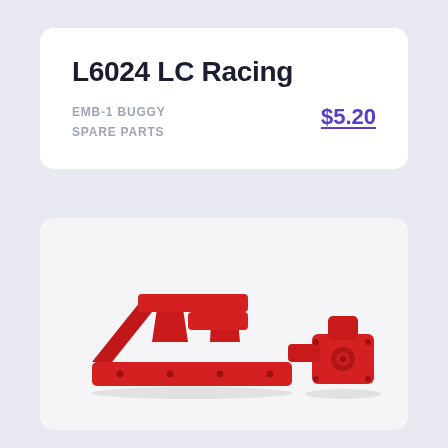L6024 LC Racing
EMB-1 BUGGY
SPARE PARTS
$5.20
[Figure (photo): Two red aluminum RC car spare parts — a Y-shaped front lower arm/tower brace on the left and a smaller steering knuckle/hub carrier on the right — photographed on a white background.]